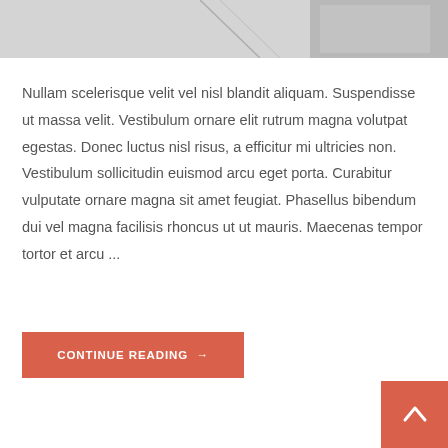[Figure (photo): Partial photo strip at top of page showing a blurred/cropped image in black and white tones, appears to show an object or person]
Nullam scelerisque velit vel nisl blandit aliquam. Suspendisse ut massa velit. Vestibulum ornare elit rutrum magna volutpat egestas. Donec luctus nisl risus, a efficitur mi ultricies non. Vestibulum sollicitudin euismod arcu eget porta. Curabitur vulputate ornare magna sit amet feugiat. Phasellus bibendum dui vel magna facilisis rhoncus ut ut mauris. Maecenas tempor tortor et arcu ...
CONTINUE READING →